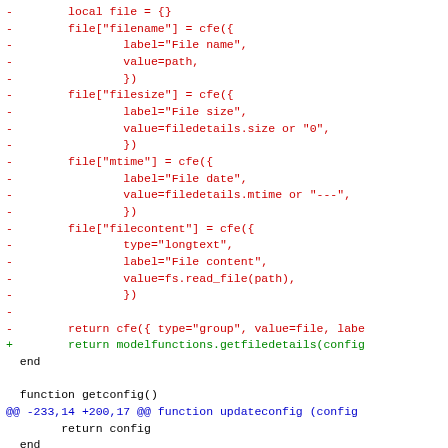[Figure (screenshot): Code diff showing Lua source changes. Red lines (prefixed with -) show removed code, green lines (prefixed with +) show added code, blue lines show diff hunk headers, and black lines show context.]